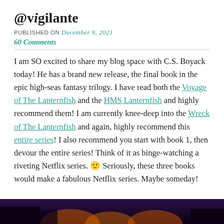@vigilante
PUBLISHED ON December 9, 2021
60 Comments
I am SO excited to share my blog space with C.S. Boyack today! He has a brand new release, the final book in the epic high-seas fantasy trilogy. I have read both the Voyage of The Lanternfish and the HMS Lanternfish and highly recommend them! I am currently knee-deep into the Wreck of The Lanternfish and again, highly recommend this entire series! I also recommend you start with book 1, then devour the entire series! Think of it as binge-watching a riveting Netflix series. 🙂 Seriously, these three books would make a fabulous Netflix series. Maybe someday!
[Figure (photo): Bottom strip of a dark purple/black image, likely a book cover for The Lanternfish series with orange lantern glow elements]